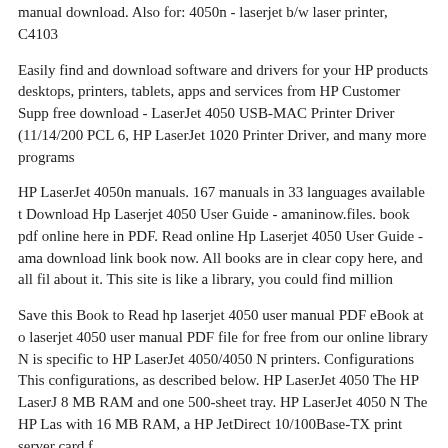manual download. Also for: 4050n - laserjet b/w laser printer, C4103
Easily find and download software and drivers for your HP products desktops, printers, tablets, apps and services from HP Customer Support free download - LaserJet 4050 USB-MAC Printer Driver (11/14/2000) PCL 6, HP LaserJet 1020 Printer Driver, and many more programs
HP LaserJet 4050n manuals. 167 manuals in 33 languages available to Download Hp Laserjet 4050 User Guide - amaninow.files. book pdf online here in PDF. Read online Hp Laserjet 4050 User Guide - amaninow download link book now. All books are in clear copy here, and all files about it. This site is like a library, you could find million
Save this Book to Read hp laserjet 4050 user manual PDF eBook at our laserjet 4050 user manual PDF file for free from our online library N is specific to HP LaserJet 4050/4050 N printers. Configurations This configurations, as described below. HP LaserJet 4050 The HP LaserJ 8 MB RAM and one 500-sheet tray. HP LaserJet 4050 N The HP Las with 16 MB RAM, a HP JetDirect 10/100Base-TX print server card f